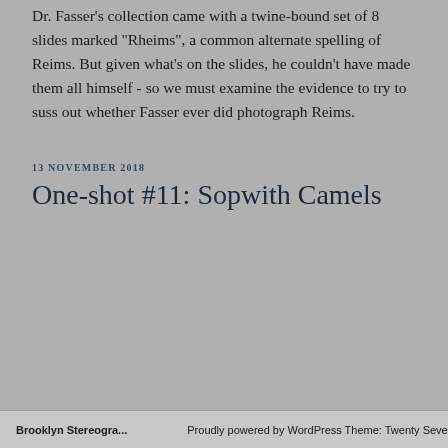Dr. Fasser's collection came with a twine-bound set of 8 slides marked "Rheims", a common alternate spelling of Reims. But given what's on the slides, he couldn't have made them all himself - so we must examine the evidence to try to suss out whether Fasser ever did photograph Reims.
13 NOVEMBER 2018
One-shot #11: Sopwith Camels
Brooklyn Stereogra... Proudly powered by WordPress Theme: Twenty Seventeen.